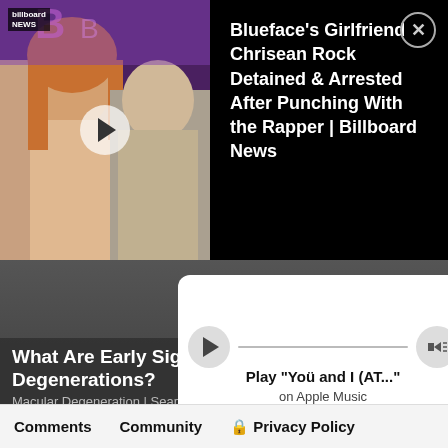[Figure (screenshot): Video thumbnail showing two people, with Billboard News badge and play button overlay]
Blueface's Girlfriend Chrisean Rock Detained & Arrested After Punching With the Rapper | Billboard News
[Figure (screenshot): Apple Music inline player widget showing play controls and track name 'You and I (AT...' on Apple Music]
Play "Yoü and I (AT..."
on Apple Music
What Are Early Signs of Macular Degenerations?
Macular Degeneration | Search Ads
Comments
Community
Privacy Policy